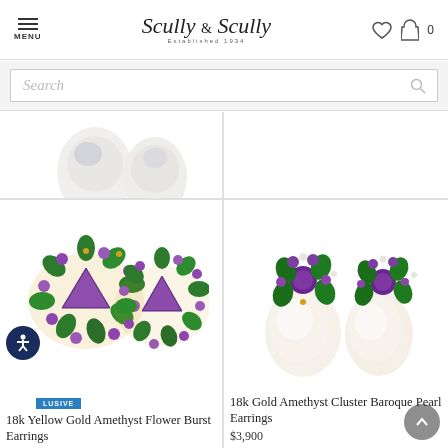MENU | Scully & Scully Established 1934
Search
[Figure (photo): Partial view of pearl earrings from top of page, cut off]
[Figure (photo): 18k Yellow Gold Amethyst Flower Burst Earrings - purple amethyst triangle center with green chrome diopside petals and small round amethysts, gold setting]
18k Yellow Gold Amethyst Flower Burst Earrings
[Figure (photo): 18k Gold Amethyst Cluster Baroque Pearl Earrings - large baroque freshwater pearls topped with cluster of round purple amethysts, green chrome diopside and diamonds in gold setting]
18k Gold Amethyst Cluster Baroque Pearl Earrings
$3,900